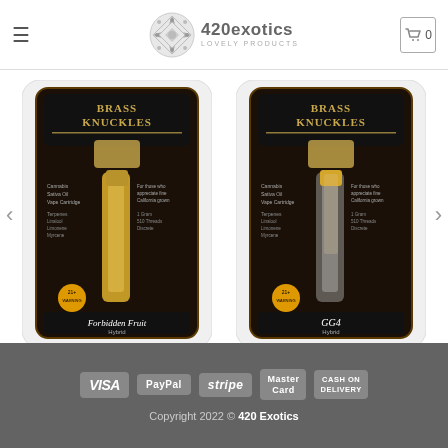RELATED PRODUCTS
[Figure (logo): 420exotics logo with snowflake-like icon and text '420exotics LOVELY PRODUCTS', navigation bar with hamburger menu and cart icon showing 0]
[Figure (photo): Brass Knuckles Forbidden Fruit Hybrid vape cartridge product in black and gold packaging]
[Figure (photo): Brass Knuckles GG4 Hybrid vape cartridge product in black and gold packaging]
BRASS KNUCKLES
Brass Knuckles Forbidden Fruit
$20.00
BRASS KNUCKLES
Brass Knuckles Gorilla Glue Online
$20.00
VISA  PayPal  stripe  MasterCard  CASH ON DELIVERY
Copyright 2022 © 420 Exotics